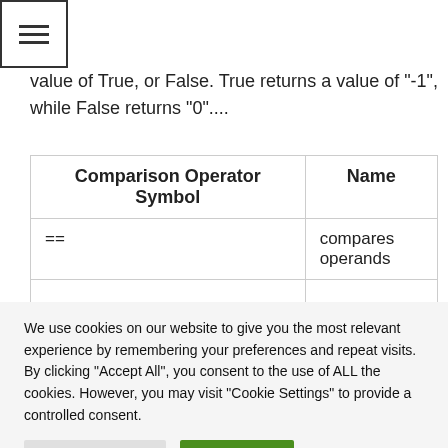value of True, or False. True returns a value of "-1", while False returns "0"....
| Comparison Operator Symbol | Name |
| --- | --- |
| == | compares operands |
We use cookies on our website to give you the most relevant experience by remembering your preferences and repeat visits. By clicking "Accept All", you consent to the use of ALL the cookies. However, you may visit "Cookie Settings" to provide a controlled consent.
Cookie Settings   Accept All